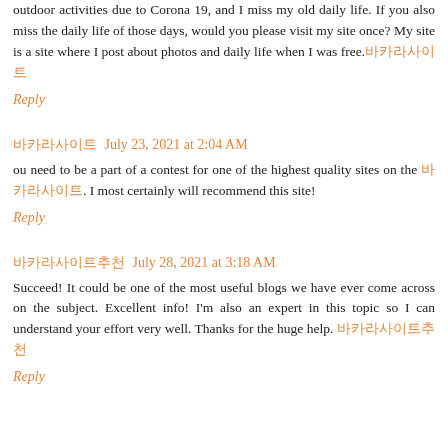outdoor activities due to Corona 19, and I miss my old daily life. If you also miss the daily life of those days, would you please visit my site once? My site is a site where I post about photos and daily life when I was free.바카라사이트
Reply
바카라사이트  July 23, 2021 at 2:04 AM
ou need to be a part of a contest for one of the highest quality sites on the 바카라사이트. I most certainly will recommend this site!
Reply
바카라사이트추천  July 28, 2021 at 3:18 AM
Succeed! It could be one of the most useful blogs we have ever come across on the subject. Excellent info! I'm also an expert in this topic so I can understand your effort very well. Thanks for the huge help. 바카라사이트추천
Reply